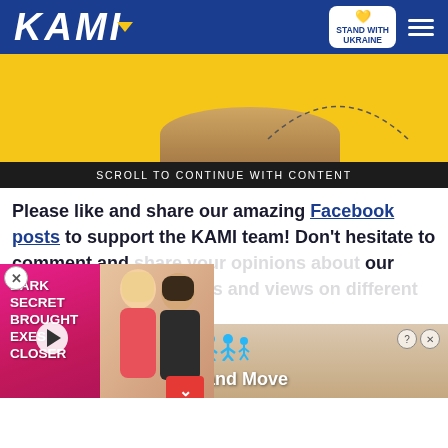KAMI — Stand with Ukraine
[Figure (other): Yellow advertisement banner with partial food/product image at bottom and dashed curve]
SCROLL TO CONTINUE WITH CONTENT
Please like and share our amazing Facebook posts to support the KAMI team! Don't hesitate to comment and share your opinions about our stories either. We love ts and views on different
[Figure (other): Video overlay showing two people (man and woman), with pink/purple background, text: DARK SECRET BROUGHT EXES CLOSER, play button, and red chevron button]
[Figure (other): Bottom advertisement banner with blue person icons and text: Hold and Move]